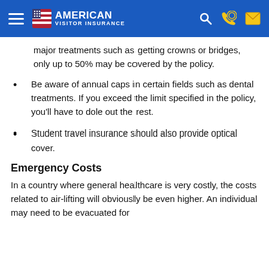American Visitor Insurance
major treatments such as getting crowns or bridges, only up to 50% may be covered by the policy.
Be aware of annual caps in certain fields such as dental treatments. If you exceed the limit specified in the policy, you'll have to dole out the rest.
Student travel insurance should also provide optical cover.
Emergency Costs
In a country where general healthcare is very costly, the costs related to air-lifting will obviously be even higher. An individual may need to be evacuated for